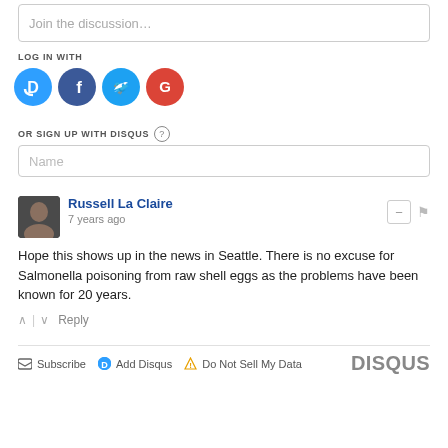Join the discussion…
LOG IN WITH
[Figure (illustration): Four social login icon circles: Disqus (D, blue), Facebook (f, dark blue), Twitter (bird, light blue), Google (G, red)]
OR SIGN UP WITH DISQUS ?
Name
Russell La Claire
7 years ago
Hope this shows up in the news in Seattle. There is no excuse for Salmonella poisoning from raw shell eggs as the problems have been known for 20 years.
↑ | ↓   Reply
Subscribe   Add Disqus   Do Not Sell My Data   DISQUS